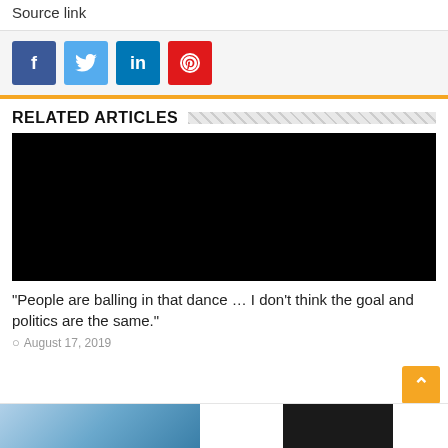Source link
[Figure (other): Social sharing buttons: Facebook (blue), Twitter (light blue), LinkedIn (blue), Pinterest (red)]
RELATED ARTICLES
[Figure (photo): Black image placeholder for article thumbnail]
"People are balling in that dance … I don't think the goal and politics are the same."
August 17, 2019